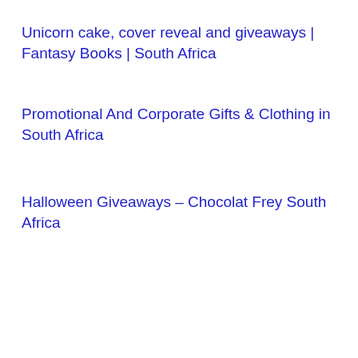Unicorn cake, cover reveal and giveaways | Fantasy Books | South Africa
Promotional And Corporate Gifts & Clothing in South Africa
Halloween Giveaways – Chocolat Frey South Africa